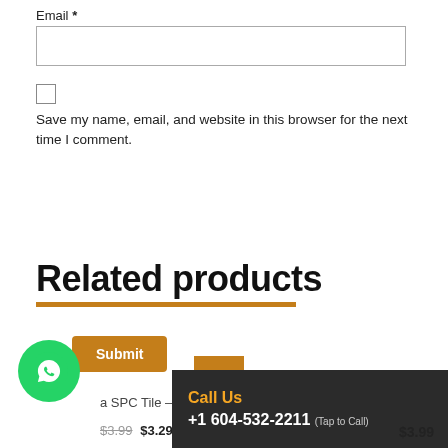Email *
Save my name, email, and website in this browser for the next time I comment.
Submit
Related products
a SPC Tile – M
$3.99  $3.29
Call Us
+1 604-532-2211 (Tap to Call)
$3.99